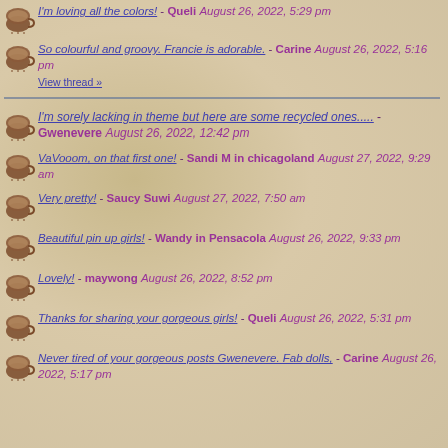I'm loving all the colors! - Queli August 26, 2022, 5:29 pm
So colourful and groovy. Francie is adorable. - Carine August 26, 2022, 5:16 pm
View thread »
I'm sorely lacking in theme but here are some recycled ones..... - Gwenevere August 26, 2022, 12:42 pm
VaVooom, on that first one! - Sandi M in chicagoland August 27, 2022, 9:29 am
Very pretty! - Saucy Suwi August 27, 2022, 7:50 am
Beautiful pin up girls! - Wandy in Pensacola August 26, 2022, 9:33 pm
Lovely! - maywong August 26, 2022, 8:52 pm
Thanks for sharing your gorgeous girls! - Queli August 26, 2022, 5:31 pm
Never tired of your gorgeous posts Gwenevere. Fab dolls, - Carine August 26, 2022, 5:17 pm